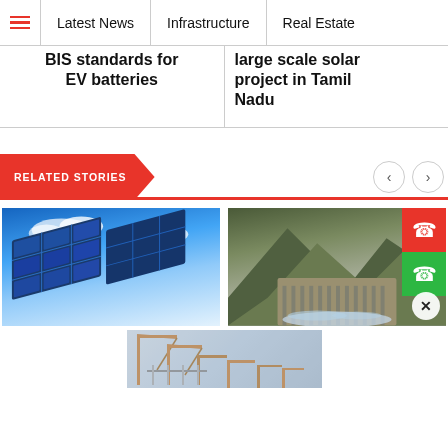Latest News | Infrastructure | Real Estate
BIS standards for EV batteries
large scale solar project in Tamil Nadu
RELATED STORIES
[Figure (photo): Solar panel against blue sky with clouds]
[Figure (photo): Dam with mountains and water flowing]
[Figure (photo): Construction site with cranes — advertisement banner]